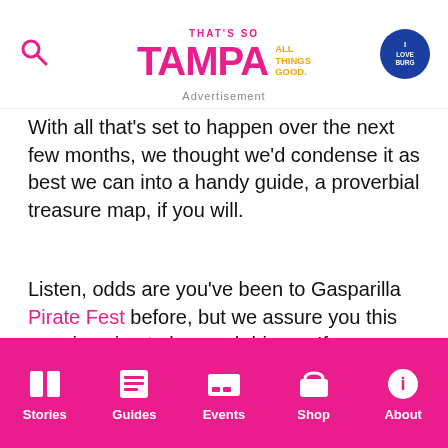THAT'S SO TAMPA ALL THINGS GOOD. | iLoveburg
Advertisement
With all that's set to happen over the next few months, we thought we'd condense it as best we can into a handy guide, a proverbial treasure map, if you will.
Listen, odds are you've been to Gasparilla Pirate Fest before, but we assure you this year is going to be much bigger. If you haven't notice, Tampa's grown quite a bit even in just the last twelve months.
Stories | Guides | Events | Shop | About